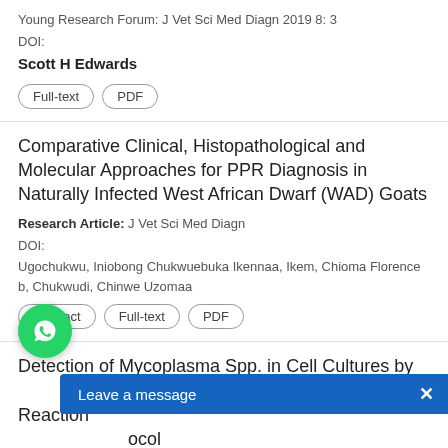Young Research Forum: J Vet Sci Med Diagn 2019 8: 3
DOI:
Scott H Edwards
Full-text | PDF
Comparative Clinical, Histopathological and Molecular Approaches for PPR Diagnosis in Naturally Infected West African Dwarf (WAD) Goats
Research Article: J Vet Sci Med Diagn
DOI:
Ugochukwu, Iniobong Chukwuebuka Ikennaa, Ikem, Chioma Florence b, Chukwudi, Chinwe Uzomaa
Abstract | Full-text | PDF
Detection of Mycoplasma Spp. in Cell Cultures by s-Specific Polymerase Chain Reaction ocol
Research Article: J Vet Sci Med Dia
DOI: 10.4172/2325-9590.1000356